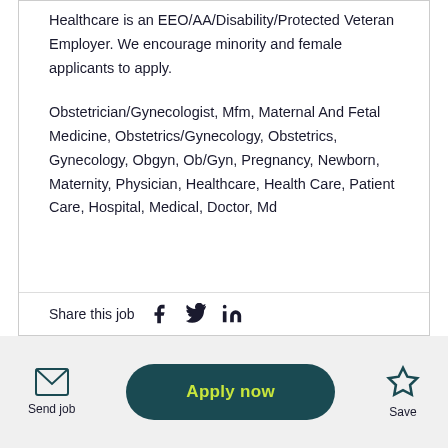Healthcare is an EEO/AA/Disability/Protected Veteran Employer. We encourage minority and female applicants to apply.
Obstetrician/Gynecologist, Mfm, Maternal And Fetal Medicine, Obstetrics/Gynecology, Obstetrics, Gynecology, Obgyn, Ob/Gyn, Pregnancy, Newborn, Maternity, Physician, Healthcare, Health Care, Patient Care, Hospital, Medical, Doctor, Md
Share this job
Send job
Apply now
Save